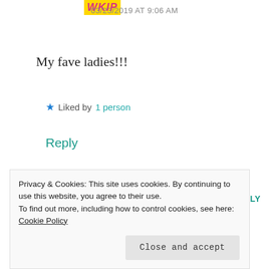[Figure (logo): Pink/magenta stylized logo text on yellow background]
03/23/2019 AT 9:06 AM
My fave ladies!!!
★ Liked by 1 person
Reply
LEAVE A REPLY TO CJR THE BRIT
CANCEL REPLY
Your email address will not be published. Required fields are marked *
Privacy & Cookies: This site uses cookies. By continuing to use this website, you agree to their use.
To find out more, including how to control cookies, see here:
Cookie Policy
Close and accept